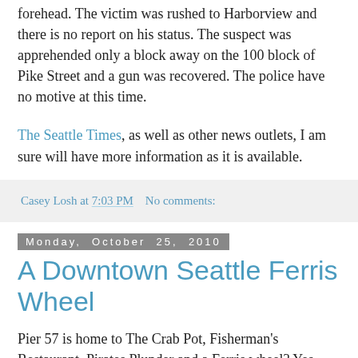forehead. The victim was rushed to Harborview and there is no report on his status. The suspect was apprehended only a block away on the 100 block of Pike Street and a gun was recovered. The police have no motive at this time.
The Seattle Times, as well as other news outlets, I am sure will have more information as it is available.
Casey Losh at 7:03 PM   No comments:
Monday, October 25, 2010
A Downtown Seattle Ferris Wheel
Pier 57 is home to The Crab Pot, Fisherman's Restaurant, Pirates Plunder and a Ferris wheel? Yes, that's right. The Pier could also house a Ferris wheel in the near future. The owner of Pier 57 recently applied for a permit to build a giant Ferris wheel to decorate the historic Miner's Landing. The pier, built in 1872, was a key point in shipping routes and one of the few structures to survive the Great Seattle Fire. Hal